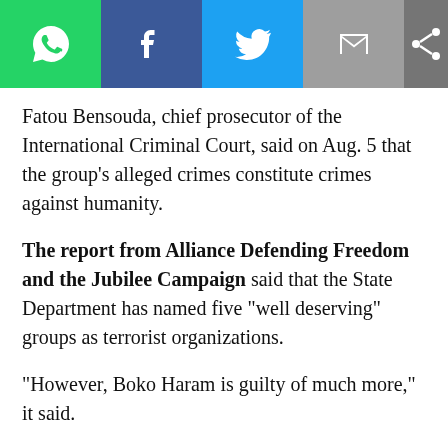[Figure (other): Social media share toolbar with WhatsApp, Facebook, Twitter, Email, and generic share icons]
Fatou Bensouda, chief prosecutor of the International Criminal Court, said on Aug. 5 that the group’s alleged crimes constitute crimes against humanity.
The report from Alliance Defending Freedom and the Jubilee Campaign said that the State Department has named five “well deserving” groups as terrorist organizations.
“However, Boko Haram is guilty of much more,” it said.
The Nigerian group has called for the ethnic cleansing and genocide of Christians in northern Nigeria.
In 2011, a Boko Haram suicide bomber attacked the